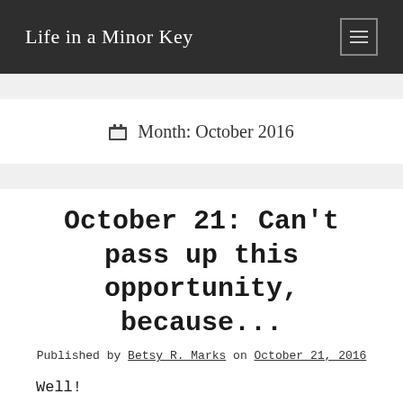Life in a Minor Key
Month: October 2016
October 21: Can't pass up this opportunity, because...
Published by Betsy R. Marks on October 21, 2016
Well!